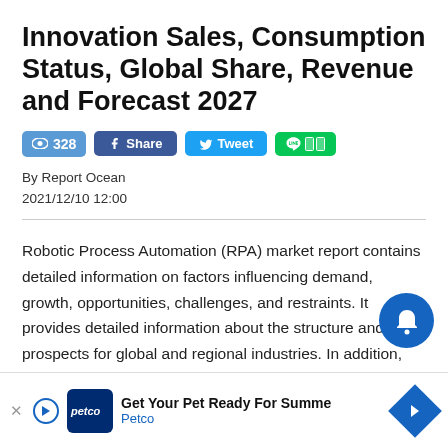Innovation Sales, Consumption Status, Global Share, Revenue and Forecast 2027
[Figure (screenshot): Social share bar with view count (328), Facebook Share button, Twitter Tweet button, and LINE button]
By Report Ocean
2021/12/10 12:00
Robotic Process Automation (RPA) market report contains detailed information on factors influencing demand, growth, opportunities, challenges, and restraints. It provides detailed information about the structure and prospects for global and regional industries. In addition, the report includes data on research & development, new product launches, product responses from leading players
[Figure (screenshot): Blue circular notification bell button overlay in bottom right]
[Figure (screenshot): Petco advertisement banner at bottom: Get Your Pet Ready For Summer - Petco]